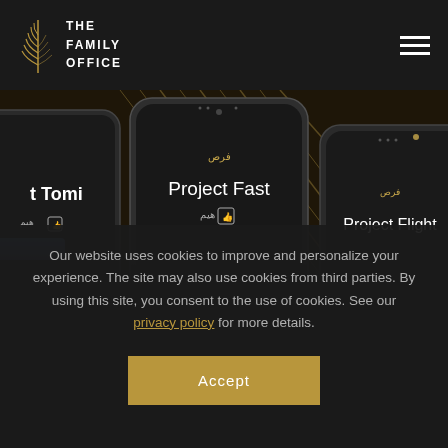[Figure (logo): The Family Office logo with golden leaf/feather icon and white text reading THE FAMILY OFFICE]
[Figure (screenshot): Three mobile phone mockups showing The Family Office app interface with project cards labeled 'Project Tomi', 'Project Fast', and 'Project Flight' on a dark background with golden leaf motif]
Our website uses cookies to improve and personalize your experience. The site may also use cookies from third parties. By using this site, you consent to the use of cookies. See our privacy policy for more details.
Accept